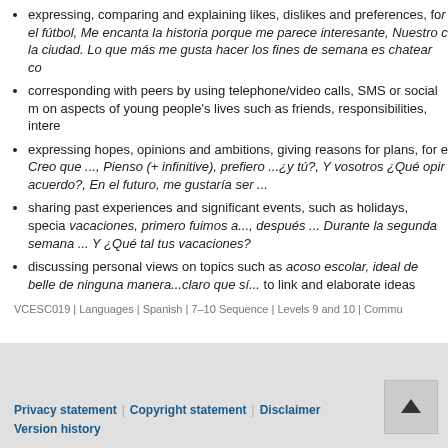expressing, comparing and explaining likes, dislikes and preferences, for example el fútbol, Me encanta la historia porque me parece interesante, Nuestro ciudad. Lo que más me gusta hacer los fines de semana es chatear co...
corresponding with peers by using telephone/video calls, SMS or social media on aspects of young people's lives such as friends, responsibilities, intere...
expressing hopes, opinions and ambitions, giving reasons for plans, for example Creo que ..., Pienso (+ infinitive), prefiero ...¿y tú?, Y vosotros ¿Qué opir... acuerdo?, En el futuro, me gustaría ser ...
sharing past experiences and significant events, such as holidays, special events: vacaciones, primero fuimos a..., después ... Durante la segunda semana ... Y ¿Qué tal tus vacaciones?
discussing personal views on topics such as acoso escolar, ideal de belleza... de ninguna manera...claro que si... to link and elaborate ideas
VCESC019 | Languages | Spanish | 7–10 Sequence | Levels 9 and 10 | Commu...
Privacy statement | Copyright statement | Disclaimer | Version history